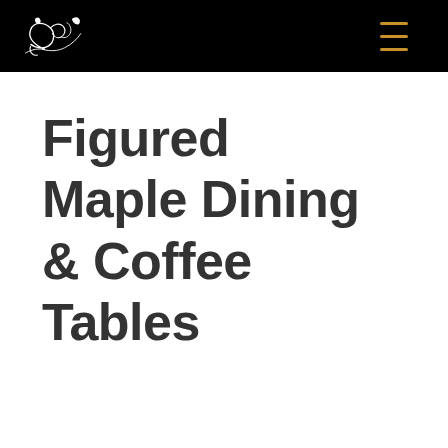[Figure (logo): Decorative script logo mark on black header background]
Figured Maple Dining & Coffee Tables